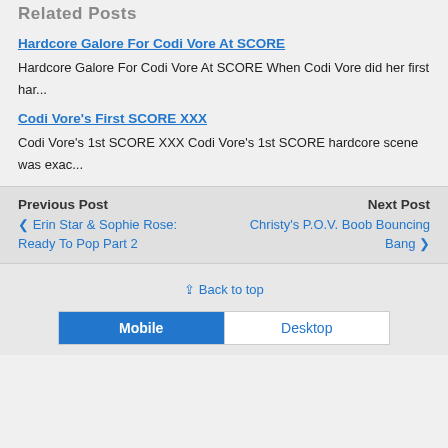Related Posts
Hardcore Galore For Codi Vore At SCORE
Hardcore Galore For Codi Vore At SCORE When Codi Vore did her first har...
Codi Vore's First SCORE XXX
Codi Vore's 1st SCORE XXX Codi Vore's 1st SCORE hardcore scene was exac...
Previous Post
❮ Erin Star & Sophie Rose: Ready To Pop Part 2
Next Post
Christy's P.O.V. Boob Bouncing Bang ❯
⇪ Back to top
Mobile | Desktop